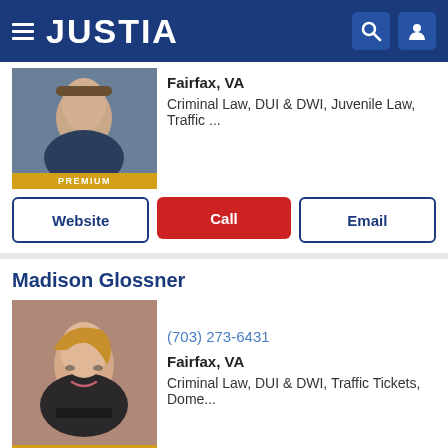JUSTIA
Fairfax, VA
Criminal Law, DUI & DWI, Juvenile Law, Traffic ...
Website | Call | Email
Madison Glossner
(703) 273-6431
Fairfax, VA
Criminal Law, DUI & DWI, Traffic Tickets, Dome...
Website | Call | Email
Benjamin Schaefer